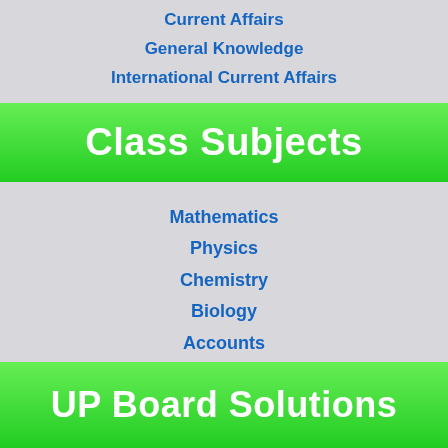Current Affairs
General Knowledge
International Current Affairs
Class Subjects
Mathematics
Physics
Chemistry
Biology
Accounts
Economics
Essay
UP Board Solutions